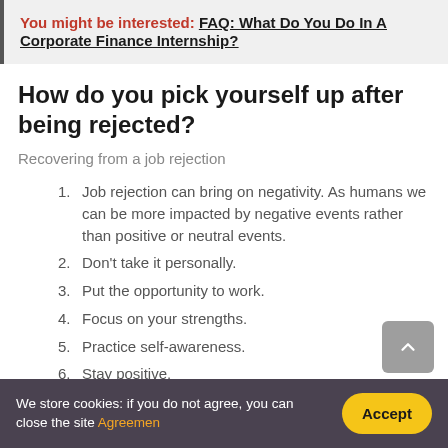You might be interested:  FAQ: What Do You Do In A Corporate Finance Internship?
How do you pick yourself up after being rejected?
Recovering from a job rejection
Job rejection can bring on negativity. As humans we can be more impacted by negative events rather than positive or neutral events.
Don't take it personally.
Put the opportunity to work.
Focus on your strengths.
Practice self-awareness.
Stay positive.
We store cookies: if you do not agree, you can close the site Agreemen    Accept